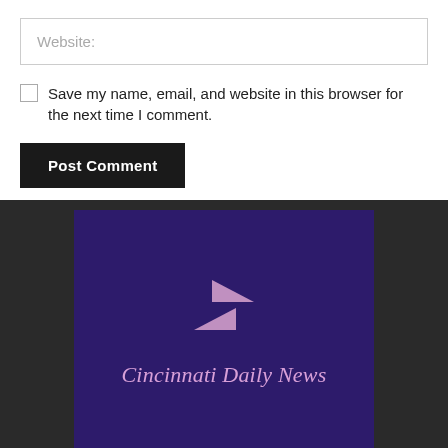Website:
Save my name, email, and website in this browser for the next time I comment.
Post Comment
[Figure (logo): Cincinnati Daily News logo: dark purple rectangle with two pink/lavender triangles forming a play-button style mark above the text 'Cincinnati Daily News' in italic serif font]